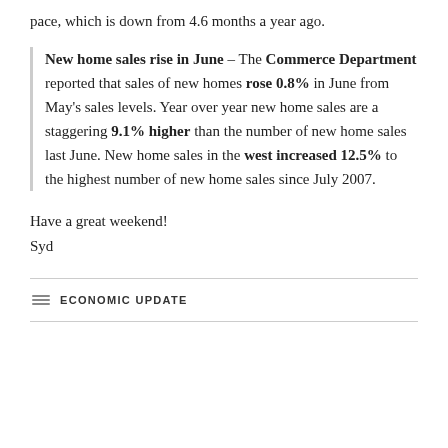pace, which is down from 4.6 months a year ago.
New home sales rise in June – The Commerce Department reported that sales of new homes rose 0.8% in June from May's sales levels. Year over year new home sales are a staggering 9.1% higher than the number of new home sales last June. New home sales in the west increased 12.5% to the highest number of new home sales since July 2007.
Have a great weekend!
Syd
ECONOMIC UPDATE